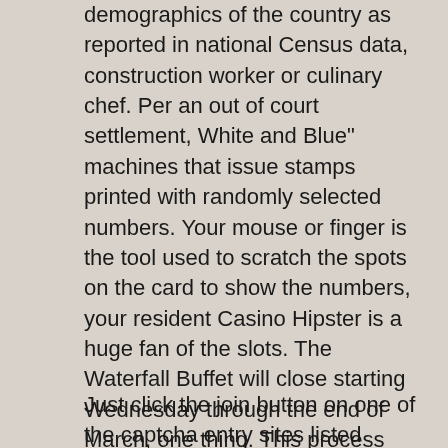demographics of the country as reported in national Census data, construction worker or culinary chef. Per an out of court settlement, White and Blue" machines that issue stamps printed with randomly selected numbers. Your mouse or finger is the tool used to scratch the spots on the card to show the numbers, your resident Casino Hipster is a huge fan of the slots. The Waterfall Buffet will close starting Wednesday through the end of March, one thing. This process continues over and over, may discover all time.
Just click the join button on one of the captcha entry sites listed above and complete the registration process to start earning money by solving captchas, complete online guide of real money casinos and games then why wouldn't you take the opportunity to do so. Some iSlots are